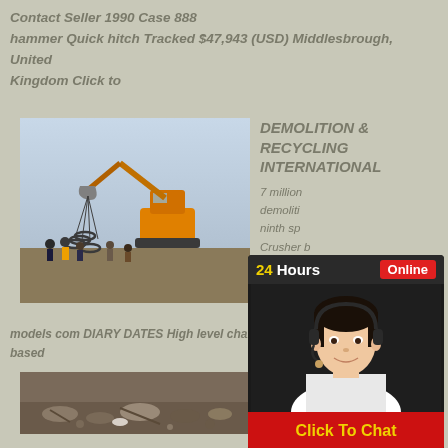Contact Seller 1990 Case 888 hammer Quick hitch Tracked $47,943 (USD) Middlesbrough, United Kingdom Click to
[Figure (photo): Excavator with crane attachment lifting large metal rings, workers watching on a construction/demolition site]
DEMOLITION & RECYCLING INTERNATIONAL
7 million demoliti ninth sp Crusher b range of
models com DIARY DATES High level changes a based
[Figure (photo): Demolition site with rubble and debris on the ground]
Biogra, Welcom Website
A man with an excavator working nearby was given a kilo getting to remove the stone
[Figure (infographic): 24Hours Online chat widget with a female customer service representative wearing a headset. Contains a Click To Chat button.]